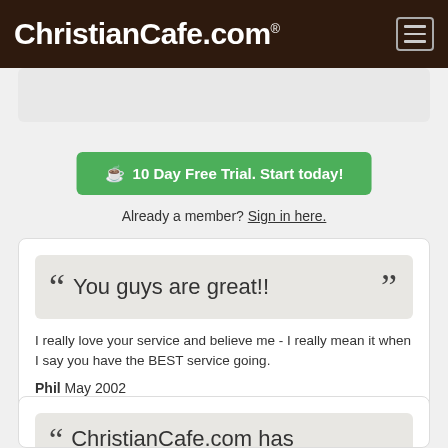ChristianCafe.com
10 Day Free Trial. Start today!
Already a member? Sign in here.
"You guys are great!!"
I really love your service and believe me - I really mean it when I say you have the BEST service going.
Phil May 2002
ChristianCafe.com has